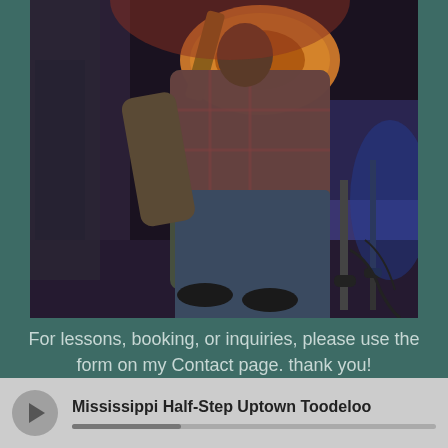[Figure (photo): A musician playing acoustic guitar on stage, photographed from behind/side, in a dark venue with stage lighting. The person is wearing a plaid shirt and jeans.]
For lessons, booking, or inquiries, please use the form on my Contact page. thank you!
Mississippi Half-Step Uptown Toodeloo